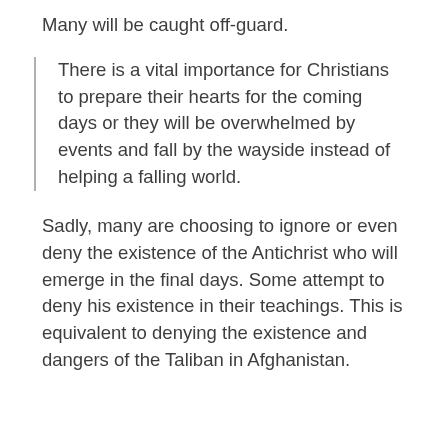Many will be caught off-guard.
There is a vital importance for Christians to prepare their hearts for the coming days or they will be overwhelmed by events and fall by the wayside instead of helping a falling world.
Sadly, many are choosing to ignore or even deny the existence of the Antichrist who will emerge in the final days. Some attempt to deny his existence in their teachings. This is equivalent to denying the existence and dangers of the Taliban in Afghanistan.